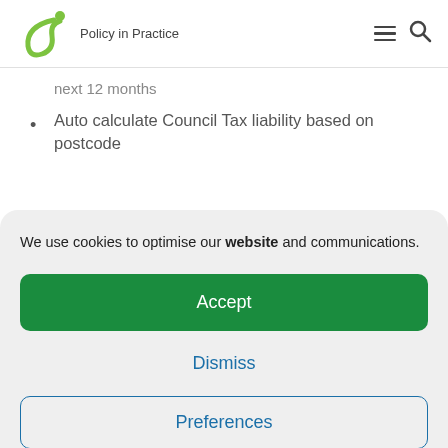Policy in Practice
next 12 months
Auto calculate Council Tax liability based on postcode
We use cookies to optimise our website and communications.
Accept
Dismiss
Preferences